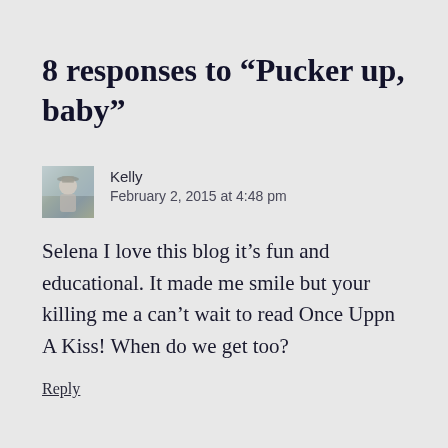8 responses to “Pucker up, baby”
[Figure (photo): Small avatar photo of a person, appears to be a profile picture thumbnail]
Kelly
February 2, 2015 at 4:48 pm
Selena I love this blog it’s fun and educational. It made me smile but your killing me a can’t wait to read Once Uppn A Kiss! When do we get too?
Reply